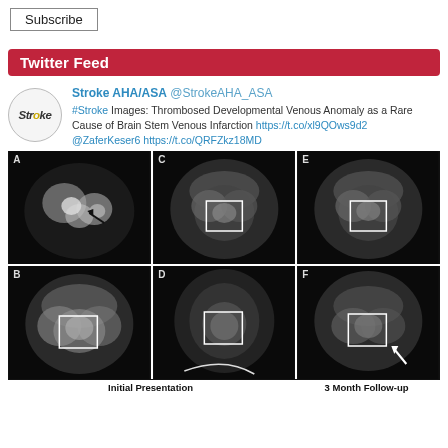Subscribe
Twitter Feed
Stroke AHA/ASA @StrokeAHA_ASA
#Stroke Images: Thrombosed Developmental Venous Anomaly as a Rare Cause of Brain Stem Venous Infarction https://t.co/xl9QOws9d2 @ZaferKeser6 https://t.co/QRFZkz18MD
[Figure (photo): Six MRI brain images (A-F) arranged in 2 rows of 3, showing brain stem venous infarction. Images A-D labeled Initial Presentation, images E-F labeled 3 Month Follow-up. Several images show a white box highlighting a region of interest.]
Initial Presentation
3 Month Follow-up